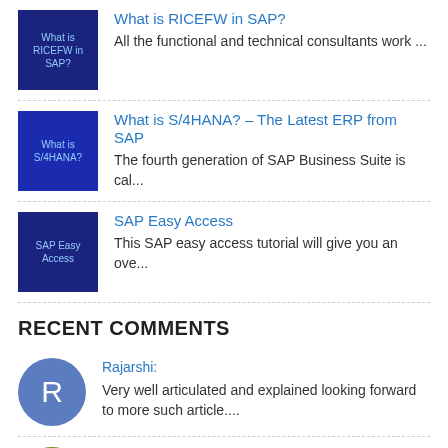What is RICEFW in SAP? — All the functional and technical consultants work ...
What is S/4HANA? – The Latest ERP from SAP — The fourth generation of SAP Business Suite is cal...
SAP Easy Access — This SAP easy access tutorial will give you an ove...
RECENT COMMENTS
Rajarshi: Very well articulated and explained looking forward to more such article....
sliman: Thanks a lot very helpfull and clear examples !!...
Emilio Pirela: Hola, las sub operaciones tienen un valor individual que seran sumados al costo de la